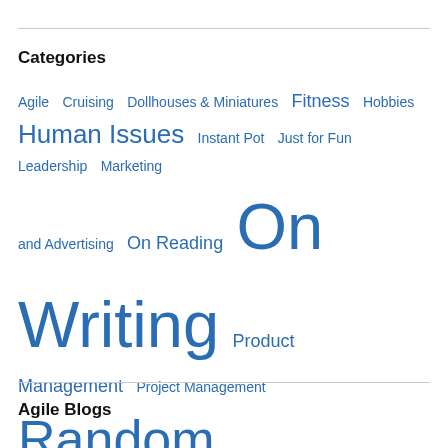Categories
Agile  Cruising  Dollhouses & Miniatures  Fitness  Hobbies  Human Issues  Instant Pot  Just for Fun  Leadership  Marketing and Advertising  On Reading  On Writing  Product Management  Project Management  Random Thoughts  Reblog  Recipes  Reviews  Running  software development  Spiritual  Travel  Travel Series  travel with kids  Uncategorized
Agile Blogs